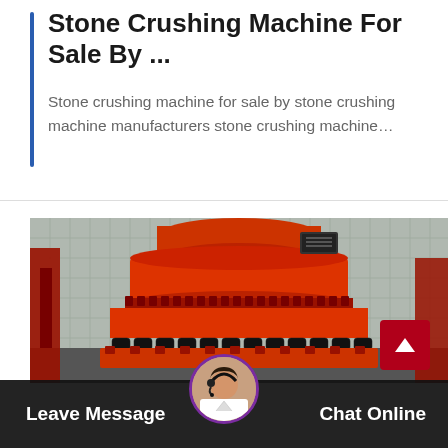Stone Crushing Machine For Sale By ...
Stone crushing machine for sale by stone crushing machine manufacturers stone crushing machine…
[Figure (photo): Large orange industrial stone crushing machine (cone crusher) with black coil springs at the base, photographed outdoors against a grid-pattern background]
Leave Message    Chat Online